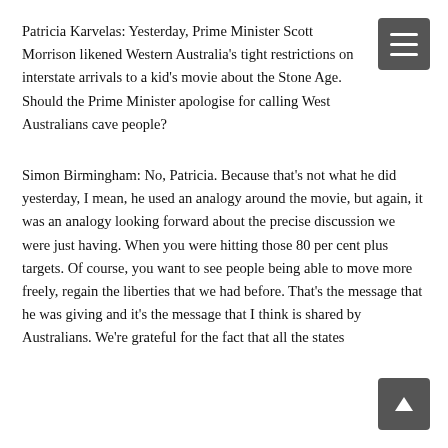Patricia Karvelas: Yesterday, Prime Minister Scott Morrison likened Western Australia's tight restrictions on interstate arrivals to a kid's movie about the Stone Age. Should the Prime Minister apologise for calling West Australians cave people?
Simon Birmingham: No, Patricia. Because that's not what he did yesterday, I mean, he used an analogy around the movie, but again, it was an analogy looking forward about the precise discussion we were just having. When you were hitting those 80 per cent plus targets. Of course, you want to see people being able to move more freely, regain the liberties that we had before. That's the message that he was giving and it's the message that I think is shared by Australians. We're grateful for the fact that all the states